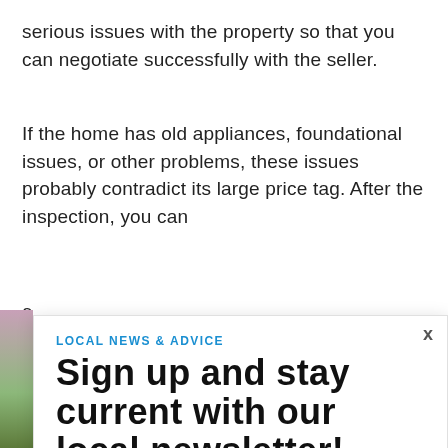serious issues with the property so that you can negotiate successfully with the seller.
If the home has old appliances, foundational issues, or other problems, these issues probably contradict its large price tag. After the inspection, you can
e
t
LOCAL NEWS & ADVICE
Sign up and stay current with our local newsletter!
Subscribe Using Facebook
Subscribe Using Google